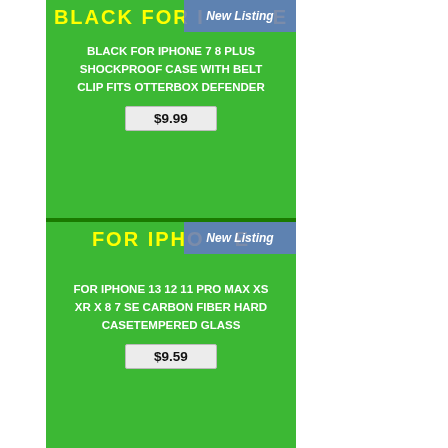BLACK FOR IPHONE
BLACK FOR IPHONE 7 8 PLUS SHOCKPROOF CASE WITH BELT CLIP FITS OTTERBOX DEFENDER
$9.99
FOR IPHONE
FOR IPHONE 13 12 11 PRO MAX XS XR X 8 7 SE CARBON FIBER HARD CASETEMPERED GLASS
$9.59
FOR APPLE WATCH SERIES
FOR APPLE WATCH SERIES 7 6 5 4